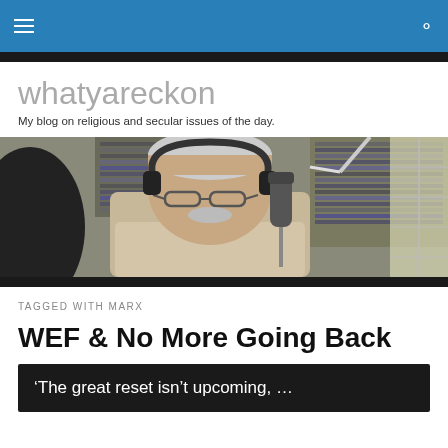whatyareckon — site navigation header with hamburger menu and search icon
whatyareckon
My blog on religious and secular issues of the day.
[Figure (photo): An older man wearing headphones and glasses sits at a radio microphone in a studio surrounded by shelves of CDs.]
TAGGED WITH MARX
WEF & No More Going Back
‘The great reset isn’t upcoming, …